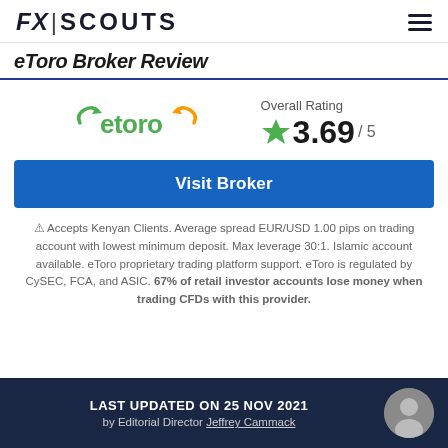FX|SCOUTS
eToro Broker Review
[Figure (logo): eToro green logo with stylized text]
Overall Rating ★3.69/ 5
Visit Broker
⚠ Accepts Kenyan Clients. Average spread EUR/USD 1.00 pips on trading account with lowest minimum deposit. Max leverage 30:1. Islamic account available. eToro proprietary trading platform support. eToro is regulated by CySEC, FCA, and ASIC. 67% of retail investor accounts lose money when trading CFDs with this provider.
LAST UPDATED ON 25 NOV 2021 by Editorial Director Jeffrey Cammack